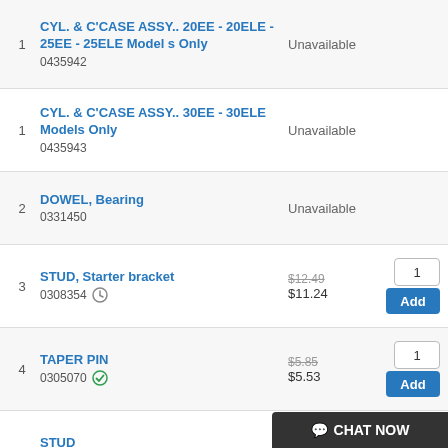| # | Description | Price | Action |
| --- | --- | --- | --- |
| 1 | CYL. & C'CASE ASSY.. 20EE - 20ELE - 25EE - 25ELE Models Only
0435942 | Unavailable |  |
| 1 | CYL. & C'CASE ASSY.. 30EE - 30ELE Models Only
0435943 | Unavailable |  |
| 2 | DOWEL, Bearing
0331450 | Unavailable |  |
| 3 | STUD, Starter bracket
0308354 | $12.49 / $11.24 | 1 / Add |
| 4 | TAPER PIN
0305070 | $5.85 / $5.53 | 1 / Add |
| 5 | STUD
0308353 | $8.99 / $8.68 | 2 / Add |
| 6 | CHECK VALVE | $57.4... |  |